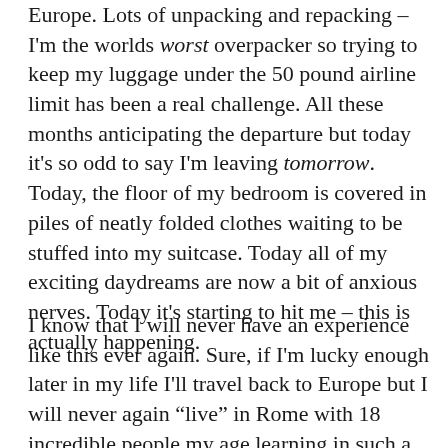Europe. Lots of unpacking and repacking – I'm the worlds worst overpacker so trying to keep my luggage under the 50 pound airline limit has been a real challenge. All these months anticipating the departure but today it's so odd to say I'm leaving tomorrow. Today, the floor of my bedroom is covered in piles of neatly folded clothes waiting to be stuffed into my suitcase. Today all of my exciting daydreams are now a bit of anxious nerves. Today it's starting to hit me – this is actually happening.
I know that I will never have an experience like this ever again. Sure, if I'm lucky enough later in my life I'll travel back to Europe but I will never again "live" in Rome with 18 incredible people my age learning in such a unique setting. I am beyond ready to jump in completely open-minded and up for anything. I could never say thank you enough to my parents for making this possible for me. There is no